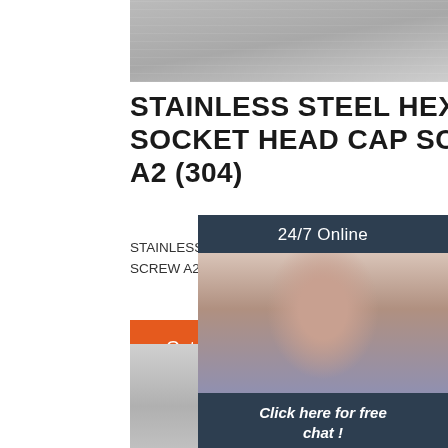[Figure (photo): Top photo showing stainless steel screws on a gray surface]
STAINLESS STEEL HEX SOCKET HEAD CAP SCREW A2 (304)
STAINLESS STEEL HEX SOCKET HEAD CAP SCREW A2 (304) M6 x 10mm - 100pc. $14.0
[Figure (photo): Chat widget with woman wearing headset, 24/7 Online label, Click here for free chat!, and QUOTATION button]
Get Price
[Figure (photo): Bottom photo showing stainless steel hex socket head cap screws on gray background]